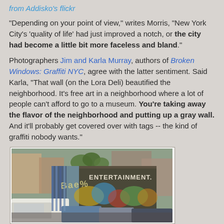from Addisko's flickr
"Depending on your point of view," writes Morris, "New York City's 'quality of life' had just improved a notch, or the city had become a little bit more faceless and bland."
Photographers Jim and Karla Murray, authors of Broken Windows: Graffiti NYC, agree with the latter sentiment. Said Karla, "That wall (on the Lora Deli) beautified the neighborhood. It's free art in a neighborhood where a lot of people can't afford to go to a museum. You're taking away the flavor of the neighborhood and putting up a gray wall. And it'll probably get covered over with tags -- the kind of graffiti nobody wants."
[Figure (photo): Street-level photograph showing a building wall covered in colorful graffiti murals with 'ENTERTAINMENT.' text visible, with cars and urban buildings in background. Captured via Google Maps street view.]
Google Maps
It still lives, for now, in Google Maps' street view, partially